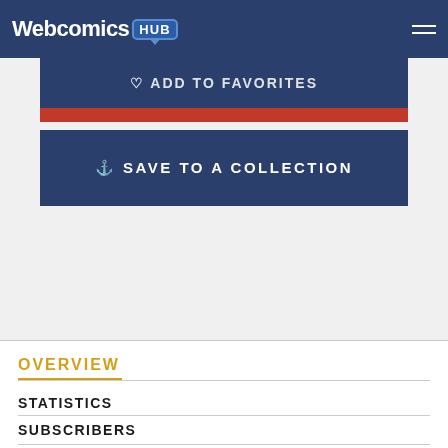Webcomics HUB
ADD TO FAVORITES
SAVE TO A COLLECTION
OVERVIEW
STATISTICS
SUBSCRIBERS
COMMENTS